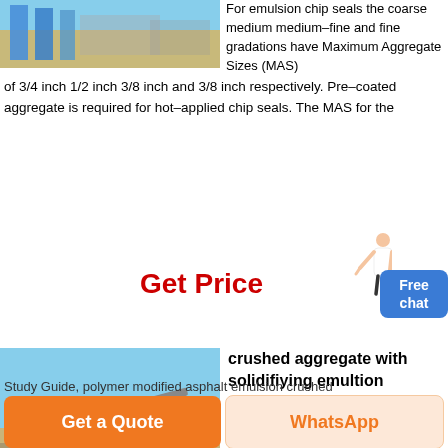[Figure (photo): Partial view of a building or industrial facility with blue structural elements and sandy ground.]
For emulsion chip seals the coarse medium medium–fine and fine gradations have Maximum Aggregate Sizes (MAS) of 3/4 inch 1/2 inch 3/8 inch and 3/8 inch respectively. Pre–coated aggregate is required for hot–applied chip seals. The MAS for the
Get Price
[Figure (photo): Industrial stone crushing or aggregate processing equipment at a quarry or construction site, showing conveyors and large machinery.]
crushed aggregate with solidifying emultion
crushed aggregate with solidifiying emultion – Quarry grindingSlurryCertifiion Study Guide, polymer modified asphalt emulsion crushed
Get a Quote    WhatsApp